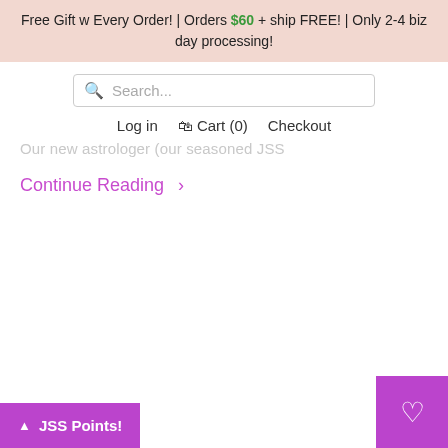Free Gift w Every Order! | Orders $60 + ship FREE! | Only 2-4 biz day processing!
Search...
Log in   Cart (0)   Checkout
Our new astrologer (our seasoned JSS
Continue Reading >
JSS Points!
[Figure (other): Heart/wishlist button at bottom right corner]